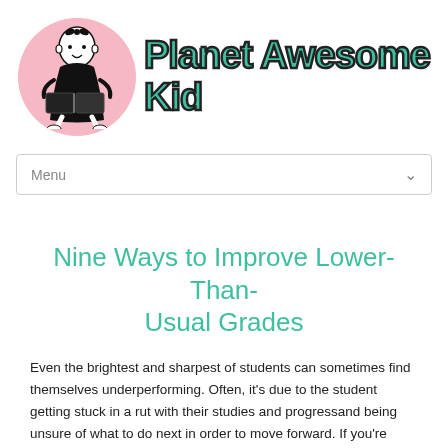[Figure (logo): Planet Awesome Kid logo: pink circle with a vintage baby/child reading a book illustration, next to bold teal text 'Planet Awesome Kid' with dark outline]
Menu
Nine Ways to Improve Lower-Than-Usual Grades
Even the brightest and sharpest of students can sometimes find themselves underperforming. Often, it’s due to the student getting stuck in a rut with their studies and progressand being unsure of what to do next in order to move forward. If you’re usually a straight A student but have recently noticed a drop in